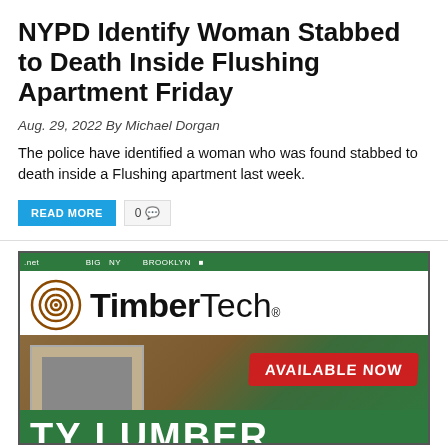NYPD Identify Woman Stabbed to Death Inside Flushing Apartment Friday
Aug. 29, 2022 By Michael Dorgan
The police have identified a woman who was found stabbed to death inside a Flushing apartment last week.
[Figure (other): READ MORE button and comment count badge showing 0 comments]
[Figure (other): TimberTech advertisement with logo, 'AVAILABLE NOW' banner, and 'TY LUMBER' text on a store background]